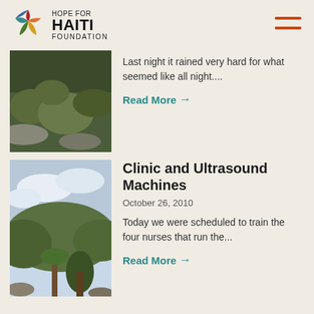Hope For Haiti Foundation
[Figure (photo): Aerial view of lush green tropical forest with rocks]
Last night it rained very hard for what seemed like all night....
Read More →
[Figure (photo): Hillside with tropical forest and cloudy sky view]
Clinic and Ultrasound Machines
October 26, 2010
Today we were scheduled to train the four nurses that run the...
Read More →